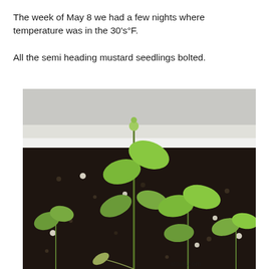The week of May 8 we had a few nights where temperature was in the 30's°F.

All the semi heading mustard seedlings bolted.
[Figure (photo): Photo of mustard seedlings growing in a white rectangular container filled with dark soil. Several green seedlings are visible, with one tall bolting plant in the center. A concrete wall is visible in the background. A watermark reading 'atoun.com' is visible at the bottom right.]